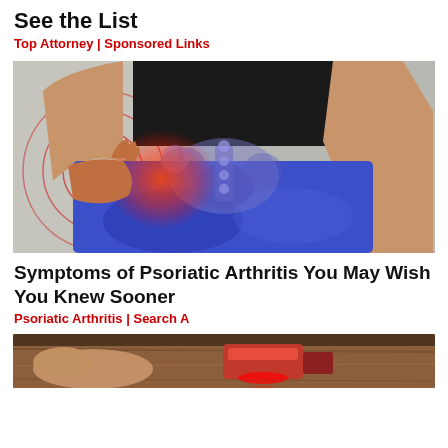See the List
Top Attorney | Sponsored Links
[Figure (photo): Person in blue leggings and black top holding hip area with medical X-ray overlay showing hip joint and pelvic bone with red pain indicators and concentric circle graphics.]
Symptoms of Psoriatic Arthritis You May Wish You Knew Sooner
Psoriatic Arthritis | Search A
[Figure (photo): Partially visible bottom image showing hands and a wooden panel with a red light or laser instrument.]